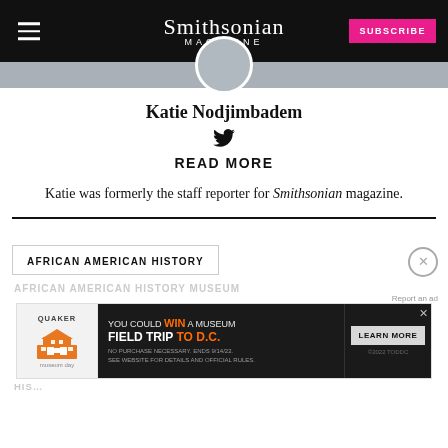Smithsonian Magazine
[Figure (photo): Profile photo of Katie Nodjimbadem (partially visible, cropped at top)]
Katie Nodjimbadem
READ MORE
Katie was formerly the staff reporter for Smithsonian magazine.
AFRICAN AMERICAN HISTORY
[Figure (photo): Advertisement banner: Quaker / You Could Win a Museum Field Trip to D.C. — Learn More. No purchase necessary. Ends 9/14/22. See website for details and official rules. ©2022 TODDC.]